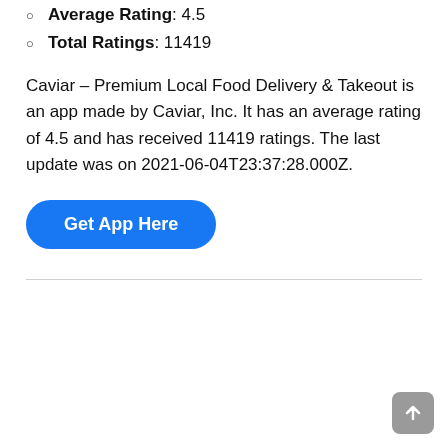Average Rating: 4.5
Total Ratings: 11419
Caviar – Premium Local Food Delivery & Takeout is an app made by Caviar, Inc. It has an average rating of 4.5 and has received 11419 ratings. The last update was on 2021-06-04T23:37:28.000Z.
[Figure (other): Blue rounded button labeled 'Get App Here']
Back to top arrow button